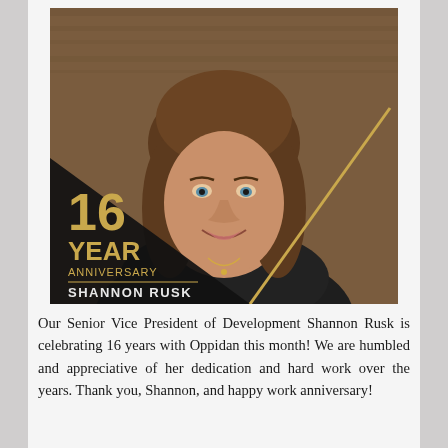[Figure (photo): Professional headshot of Shannon Rusk, a woman with shoulder-length brown hair and a smile, wearing a dark top. Overlaid on the lower-left is a black wedge graphic with gold text reading '16 YEAR ANNIVERSARY' and 'SHANNON RUSK', with a gold diagonal line separating the overlay from the photo.]
Our Senior Vice President of Development Shannon Rusk is celebrating 16 years with Oppidan this month! We are humbled and appreciative of her dedication and hard work over the years. Thank you, Shannon, and happy work anniversary!